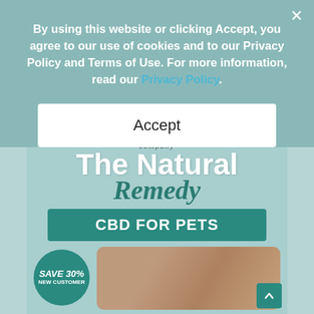By using this website or clicking Accept, you agree to our use of cookies and to our Privacy Policy and Terms of Use. For more information, read our Privacy Policy.
Accept
[Figure (illustration): Advertisement for CBD for Pets product. Shows text 'company', 'The Natural Remedy', 'CBD FOR PETS' on teal background with a dog, a cat, and a CBD oil dropper bottle. Badge reads 'SAVE 30% NEW CUSTOMER'.]